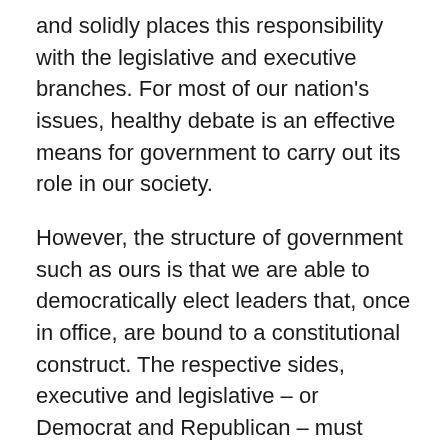and solidly places this responsibility with the legislative and executive branches. For most of our nation's issues, healthy debate is an effective means for government to carry out its role in our society.
However, the structure of government such as ours is that we are able to democratically elect leaders that, once in office, are bound to a constitutional construct. The respective sides, executive and legislative – or Democrat and Republican – must execute their responsibilities they swore to defend, as defined in the Constitution.
Without a budget, not only can the services not execute to the requirements today, they cannot properly plan for tomorrow. The security of our nation, and providing the resources the men and women of our armed forces need to do their job, should never be a partisan issue.